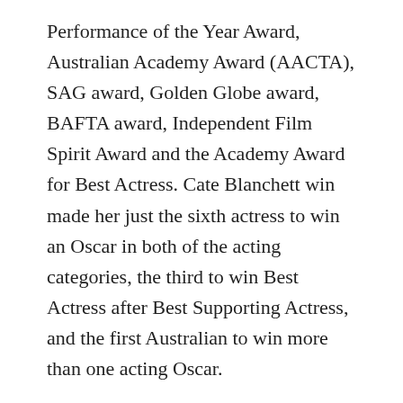Performance of the Year Award, Australian Academy Award (AACTA), SAG award, Golden Globe award, BAFTA award, Independent Film Spirit Award and the Academy Award for Best Actress. Cate Blanchett win made her just the sixth actress to win an Oscar in both of the acting categories, the third to win Best Actress after Best Supporting Actress, and the first Australian to win more than one acting Oscar.
In 2014, Cate Blanchett co-starred with Matt Damon and George Clooney in the latter's film, The Monuments Men, based on the true story of a crew of art historians and museum curators who recover renowned works of art stolen by Nazis. The film featured an ensemble cast, including John